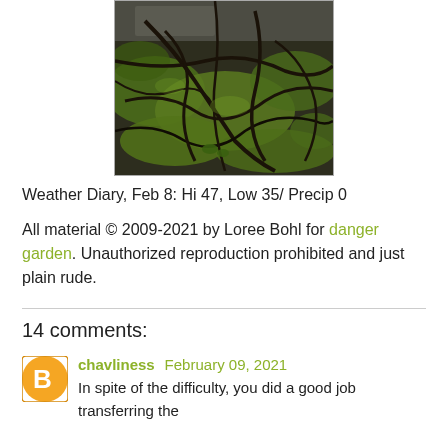[Figure (photo): Close-up photo of mossy tree roots with dark twisting roots covered in green moss on a forest floor]
Weather Diary, Feb 8: Hi 47, Low 35/ Precip 0
All material © 2009-2021 by Loree Bohl for danger garden. Unauthorized reproduction prohibited and just plain rude.
14 comments:
chavliness February 09, 2021
In spite of the difficulty, you did a good job transferring the